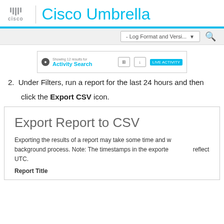Cisco Umbrella
[Figure (screenshot): Cisco Umbrella Activity Search interface screenshot showing navigation bar with icons]
2. Under Filters, run a report for the last 24 hours and then click the Export CSV icon.
[Figure (screenshot): Export Report to CSV modal dialog showing title and text: Exporting the results of a report may take some time and will run as a background process. Note: The timestamps in the exported file reflect UTC. Report Title label visible.]